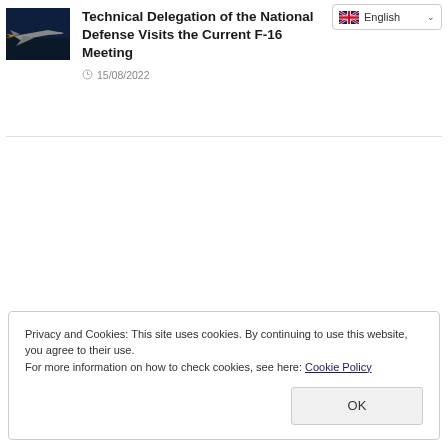[Figure (photo): Military jet aircraft (appears to be an F-16 or similar fighter) flying against a dark blue sky background]
Technical Delegation of the National Defense Visits the Current F-16 Meeting
15/08/2022
Privacy and Cookies: This site uses cookies. By continuing to use this website, you agree to their use.
For more information on how to check cookies, see here: Cookie Policy